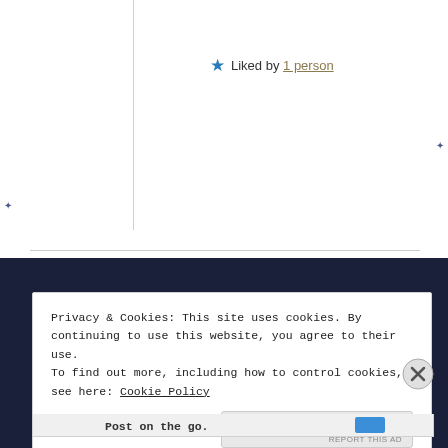★ Liked by 1 person
Privacy & Cookies: This site uses cookies. By continuing to use this website, you agree to their use.
To find out more, including how to control cookies, see here: Cookie Policy
Close and accept
Post on the go.
REPORT THIS AD